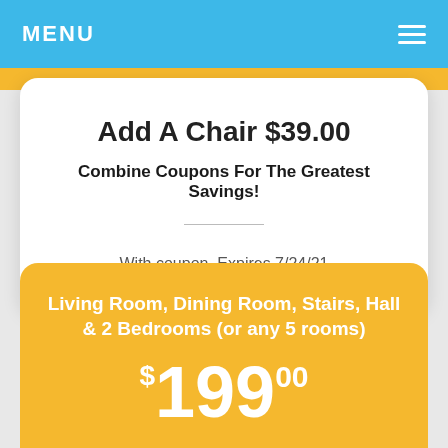MENU
Add A Chair $39.00
Combine Coupons For The Greatest Savings!
With coupon. Expires 7/24/21
Living Room, Dining Room, Stairs, Hall & 2 Bedrooms (or any 5 rooms)
$199.00